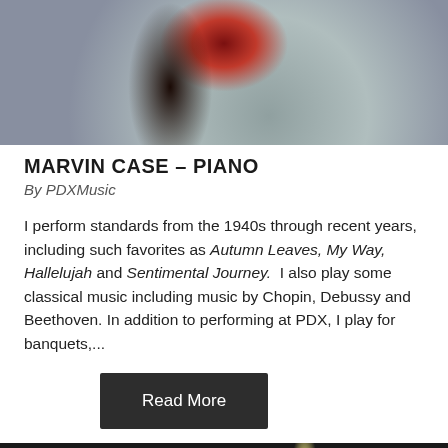[Figure (photo): Portrait photo of Marvin Case, a man in a black jacket and red shirt against a grey studio background]
MARVIN CASE – PIANO
By PDXMusic
I perform standards from the 1940s through recent years, including such favorites as Autumn Leaves, My Way, Hallelujah and Sentimental Journey.  I also play some classical music including music by Chopin, Debussy and Beethoven. In addition to performing at PDX, I play for banquets,...
Read More
[Figure (photo): Photo of a person's hands holding percussion mallets against a dark background]